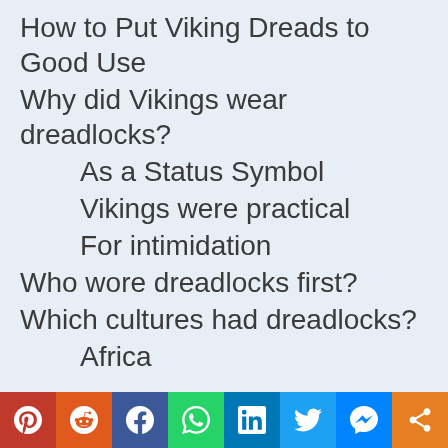How to Put Viking Dreads to Good Use
Why did Vikings wear dreadlocks?
As a Status Symbol
Vikings were practical
For intimidation
Who wore dreadlocks first?
Which cultures had dreadlocks?
Africa